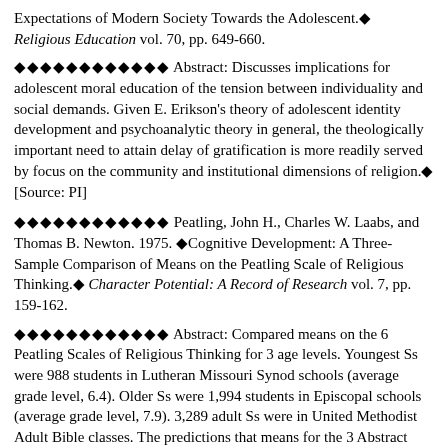Expectations of Modern Society Towards the Adolescent.◆ Religious Education vol. 70, pp. 649-660.
◆◆◆◆◆◆◆◆◆◆◆◆ Abstract: Discusses implications for adolescent moral education of the tension between individuality and social demands. Given E. Erikson's theory of adolescent identity development and psychoanalytic theory in general, the theologically important need to attain delay of gratification is more readily served by focus on the community and institutional dimensions of religion.◆ [Source: PI]
◆◆◆◆◆◆◆◆◆◆◆◆ Peatling, John H., Charles W. Laabs, and Thomas B. Newton. 1975. ◆Cognitive Development: A Three-Sample Comparison of Means on the Peatling Scale of Religious Thinking.◆ Character Potential: A Record of Research vol. 7, pp. 159-162.
◆◆◆◆◆◆◆◆◆◆◆◆ Abstract: Compared means on the 6 Peatling Scales of Religious Thinking for 3 age levels. Youngest Ss were 988 students in Lutheran Missouri Synod schools (average grade level, 6.4). Older Ss were 1,994 students in Episcopal schools (average grade level, 7.9). 3,289 adult Ss were in United Methodist Adult Bible classes. The predictions that means for the 3 Abstract Stage Scales would increase with age while means for the 3 Concrete Scales would decrease with age were confirmed. Results suggest that the Peatling Scales measure Piagetian constructs, upon which they were based, and inferentially exhibit construct validity. Results indicate more rapid development in religious thinking between childhood and adolescence than between adolescence and adulthood. The complexities of development during middle adolescence are highlighted by the use of 6 scales rather than just the 2 summary scales. Results state the suggestion that transition has been continuous and related